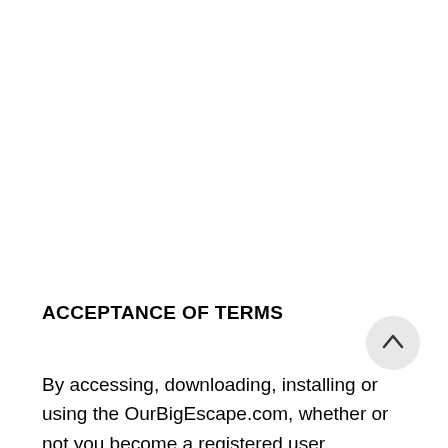ACCEPTANCE OF TERMS
By accessing, downloading, installing or using the OurBigEscape.com, whether or not you become a registered user